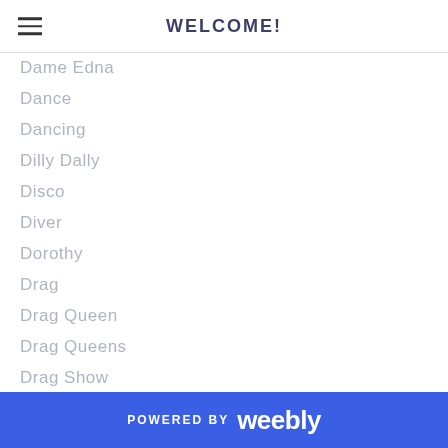WELCOME!
Dame Edna
Dance
Dancing
Dilly Dally
Disco
Diver
Dorothy
Drag
Drag Queen
Drag Queens
Drag Show
Drink
East Bay
Easter
Easter Bunny
Easter Eggs
POWERED BY weebly